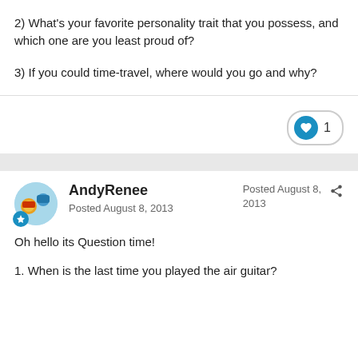2) What's your favorite personality trait that you possess, and which one are you least proud of?
3) If you could time-travel, where would you go and why?
AndyRenee
Posted August 8, 2013
Posted August 8, 2013
Oh hello its Question time!
1. When is the last time you played the air guitar?